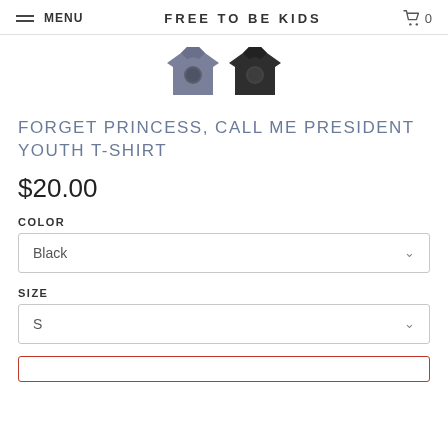MENU   FREE TO BE KIDS   0
[Figure (photo): Two youth t-shirts — one grey and one black — with a circular logo/graphic on the chest, shown from the front.]
FORGET PRINCESS, CALL ME PRESIDENT YOUTH T-SHIRT
$20.00
COLOR
Black
SIZE
S